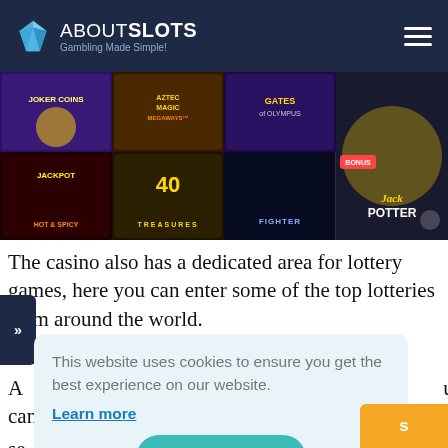ABOUTSLOTS — Gambling Made Simple!
[Figure (screenshot): Casino game thumbnails banner showing: Joker Coins, Aztec Magic Megaways, Gates of Olympus, Jack Potter, Hot & Spicy Jackpot, 40 Treasures, Heist Stakes, Fighter slots]
The casino also has a dedicated area for lottery games, here you can enter some of the top lotteries from around the world.
A... u can
Se...
A... play
m... es to
This website uses cookies to ensure you get the best experience on our website.
Learn more
Got it!